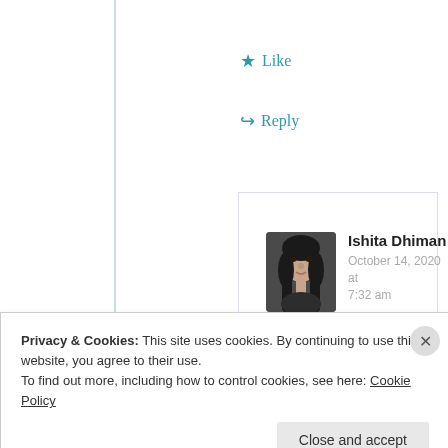★ Like
↪ Reply
Ishita Dhiman
October 14, 2020 at 7:32 am
[Figure (photo): Avatar photo of Ishita Dhiman]
Welcome!! But it's not
Privacy & Cookies: This site uses cookies. By continuing to use this website, you agree to their use.
To find out more, including how to control cookies, see here: Cookie Policy
Close and accept